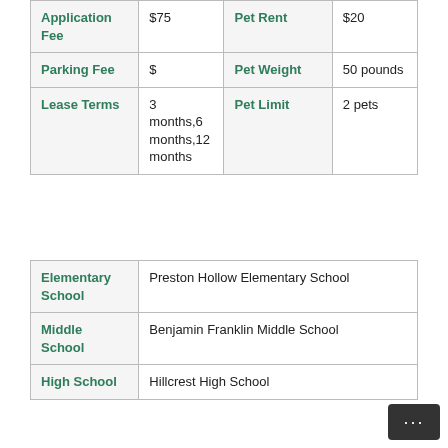| Application Fee | $75 | Pet Rent | $20 |
| Parking Fee | $ | Pet Weight | 50 pounds |
| Lease Terms | 3 months,6 months,12 months | Pet Limit | 2 pets |
| Elementary School | Preston Hollow Elementary School |
| Middle School | Benjamin Franklin Middle School |
| High School | Hillcrest High School |